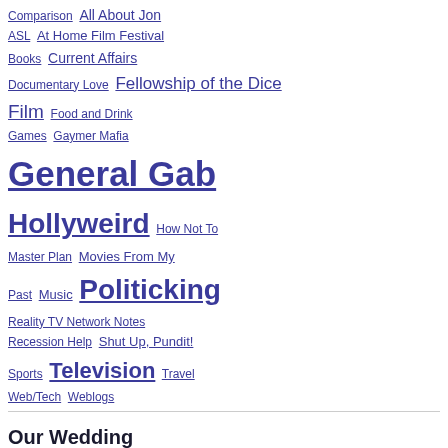Comparison  All About Jon  ASL  At Home Film Festival  Books  Current Affairs  Documentary Love  Fellowship of the Dice  Film  Food and Drink  Games  Gaymer Mafia  General Gab  Hollyweird  How Not To Master Plan  Movies From My Past  Music  Politicking  Reality TV Network Notes  Recession Help  Shut Up, Pundit!  Sports  Television  Travel  Web/Tech  Weblogs
Our Wedding
Tom and I got married on October 10th, 2008. Since we were racing to beat the clock before the election, we did a small wedding ceremony at the Van Nuys Courthouse in Los Angeles. The reception was the following day at our friend's Susan's apartment in our building. I am waiting to get pictures from my friends of the actual ceremony. Enclosed are pictures before the wedding and then at the reception. Enjoy!